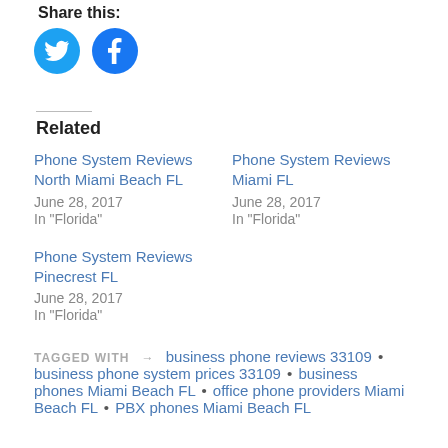Share this:
[Figure (illustration): Twitter and Facebook social sharing icon buttons (blue circles with white bird and f logos)]
Related
Phone System Reviews North Miami Beach FL
June 28, 2017
In "Florida"
Phone System Reviews Miami FL
June 28, 2017
In "Florida"
Phone System Reviews Pinecrest FL
June 28, 2017
In "Florida"
TAGGED WITH → business phone reviews 33109 • business phone system prices 33109 • business phones Miami Beach FL • office phone providers Miami Beach FL • PBX phones Miami Beach FL